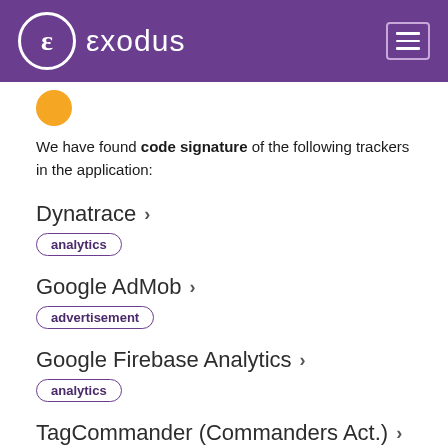exodus
We have found code signature of the following trackers in the application:
Dynatrace >
analytics
Google AdMob >
advertisement
Google Firebase Analytics >
analytics
TagCommander (Commanders Act.) >
analytics
A tracker is a piece of software meant to collect data about you or your usages. Learn more